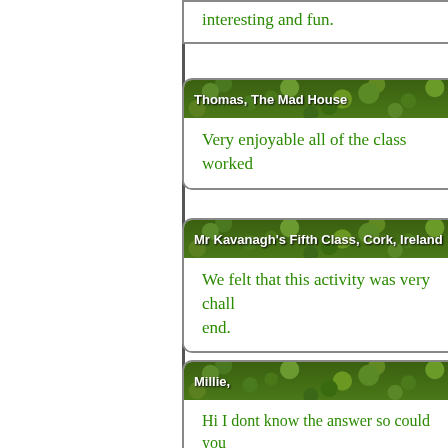interesting and fun.
Thomas, The Mad House
Very enjoyable all of the class worked
Mr Kavanagh's Fifth Class, Cork, Ireland
We felt that this activity was very chall... end.
Millie,
Hi I dont know the answer so could you help.
[Transum: Thanks for the suggestion. A